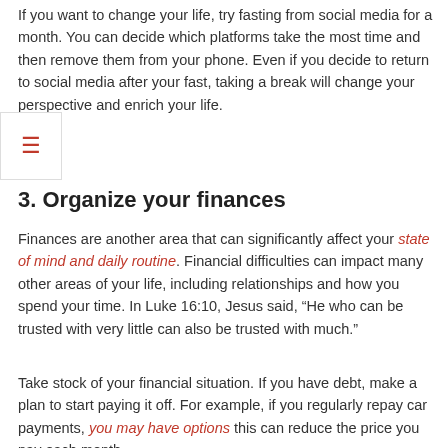If you want to change your life, try fasting from social media for a month. You can decide which platforms take the most time and then remove them from your phone. Even if you decide to return to social media after your fast, taking a break will change your perspective and enrich your life.
3. Organize your finances
Finances are another area that can significantly affect your state of mind and daily routine. Financial difficulties can impact many other areas of your life, including relationships and how you spend your time. In Luke 16:10, Jesus said, “He who can be trusted with very little can also be trusted with much.”
Take stock of your financial situation. If you have debt, make a plan to start paying it off. For example, if you regularly repay car payments, you may have options this can reduce the price you pay each month.